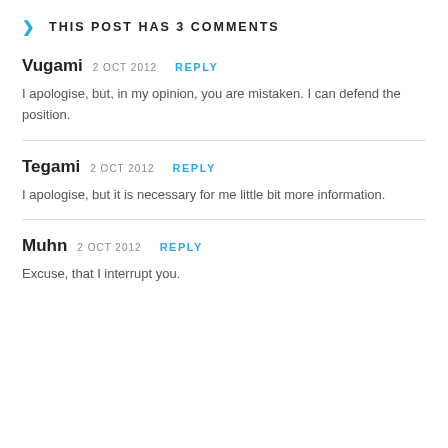THIS POST HAS 3 COMMENTS
Vugami 2 OCT 2012 REPLY
I apologise, but, in my opinion, you are mistaken. I can defend the position.
Tegami 2 OCT 2012 REPLY
I apologise, but it is necessary for me little bit more information.
Muhn 2 OCT 2012 REPLY
Excuse, that I interrupt you.